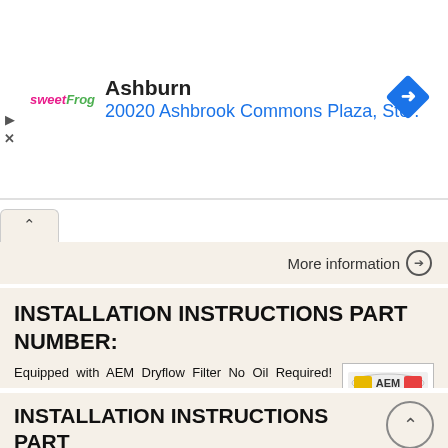[Figure (screenshot): Sweet Frog advertisement banner showing Ashburn location at 20020 Ashbrook Commons Plaza, Ste. with a blue diamond direction arrow icon]
More information →
INSTALLATION INSTRUCTIONS PART NUMBER:
Equipped with AEM Dryflow Filter No Oil Required! INSTALLATION INSTRUCTIONS PART NUMBER: 21-451B (Blue Finish) 21-451C (Gun Metal Grey Finish) 21-451P (Vacuum Metalized Chrome-VMC) 21-451R (Red Finish)
More information →
INSTALLATION INSTRUCTIONS PART NUMBER: